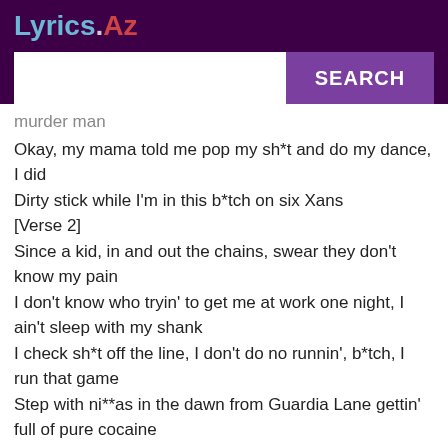Lyrics.Az
murder man
Okay, my mama told me pop my sh*t and do my dance, I did
Dirty stick while I'm in this b*tch on six Xans
[Verse 2]
Since a kid, in and out the chains, swear they don't know my pain
I don't know who tryin' to get me at work one night, I ain't sleep with my shank
I check sh*t off the line, I don't do no runnin', b*tch, I run that game
Step with ni**as in the dawn from Guardia Lane gettin' full of pure cocaine
He a nose sniffer, he don't use his veins
Doped up 'fore he swing that thing
Evacuate whole set they claim (Hold on, ni**a, hold on, hold on)